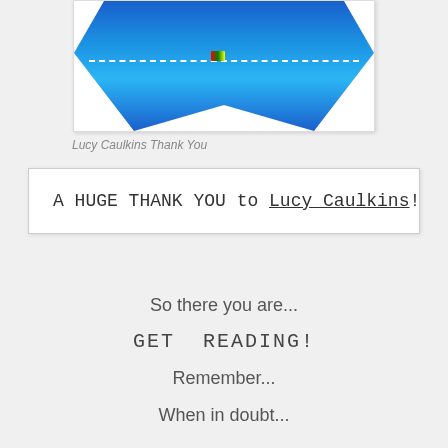[Figure (illustration): A blue decorative shield or crest shape with a white dashed line across it and a small colorful icon in the center, on a white background]
Lucy Caulkins Thank You
A HUGE THANK YOU to Lucy Caulkins!
So there you are...
GET  READING!
Remember...
When in doubt...